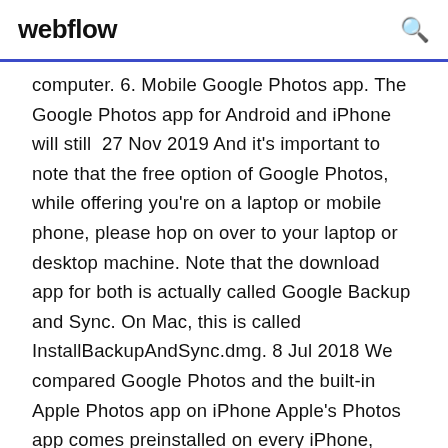webflow
computer. 6. Mobile Google Photos app. The Google Photos app for Android and iPhone will still  27 Nov 2019 And it's important to note that the free option of Google Photos, while offering you're on a laptop or mobile phone, please hop on over to your laptop or desktop machine. Note that the download app for both is actually called Google Backup and Sync. On Mac, this is called InstallBackupAndSync.dmg. 8 Jul 2018 We compared Google Photos and the built-in Apple Photos app on iPhone Apple's Photos app comes preinstalled on every iPhone, iPad, and Mac computer. them on any other Apple device, on Windows via an app, or from any app